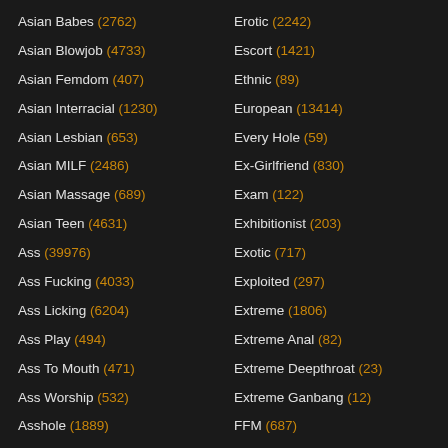Asian Babes (2762)
Asian Blowjob (4733)
Asian Femdom (407)
Asian Interracial (1230)
Asian Lesbian (653)
Asian MILF (2486)
Asian Massage (689)
Asian Teen (4631)
Ass (39976)
Ass Fucking (4033)
Ass Licking (6204)
Ass Play (494)
Ass To Mouth (471)
Ass Worship (532)
Asshole (1889)
Aunt (???)
Erotic (2242)
Escort (1421)
Ethnic (89)
European (13414)
Every Hole (59)
Ex-Girlfriend (830)
Exam (122)
Exhibitionist (203)
Exotic (717)
Exploited (297)
Extreme (1806)
Extreme Anal (82)
Extreme Deepthroat (23)
Extreme Ganbang (12)
FFM (687)
Face Fuck (1???)